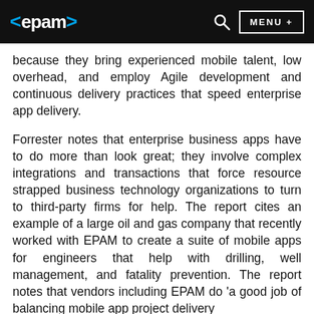<epam> [search icon] MENU +
because they bring experienced mobile talent, low overhead, and employ Agile development and continuous delivery practices that speed enterprise app delivery.
Forrester notes that enterprise business apps have to do more than look great; they involve complex integrations and transactions that force resource strapped business technology organizations to turn to third-party firms for help. The report cites an example of a large oil and gas company that recently worked with EPAM to create a suite of mobile apps for engineers that help with drilling, well management, and fatality prevention. The report notes that vendors including EPAM do 'a good job of balancing mobile app project delivery